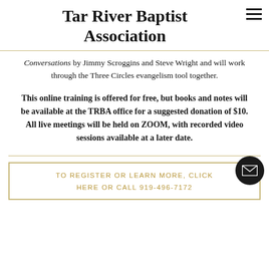Tar River Baptist Association
Conversations by Jimmy Scroggins and Steve Wright and will work through the Three Circles evangelism tool together.
This online training is offered for free, but books and notes will be available at the TRBA office for a suggested donation of $10. All live meetings will be held on ZOOM, with recorded video sessions available at a later date.
TO REGISTER OR LEARN MORE, CLICK HERE OR CALL 919-496-7172